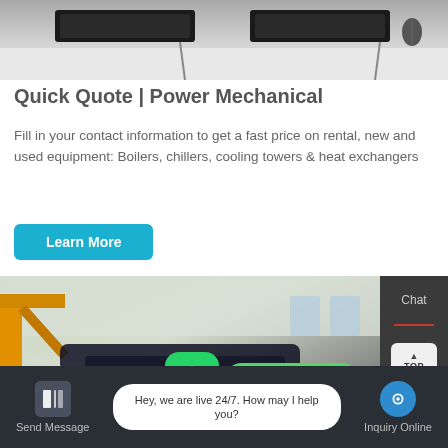[Figure (photo): Top-down view of a desk with black keyboards and a mouse on a light surface]
Quick Quote | Power Mechanical
Fill in your contact information to get a fast price on rental, new and used equipment: Boilers, chillers, cooling towers & heat exchangers
Learn More
[Figure (photo): Interior of an industrial facility showing yellow structural beams, large dark pipes, machinery, and a ladder inside a white building]
Chat
Email
Contact us now!
Hey, we are live 24/7. How may I help you?
Send Message
Inquiry Online